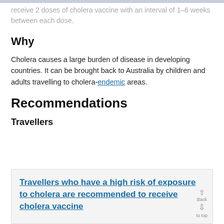receive 2 doses of cholera vaccine with an interval of 1–6 weeks between each dose.
Why
Cholera causes a large burden of disease in developing countries. It can be brought back to Australia by children and adults travelling to cholera-endemic areas.
Recommendations
Travellers
Travellers who have a high risk of exposure to cholera are recommended to receive cholera vaccine